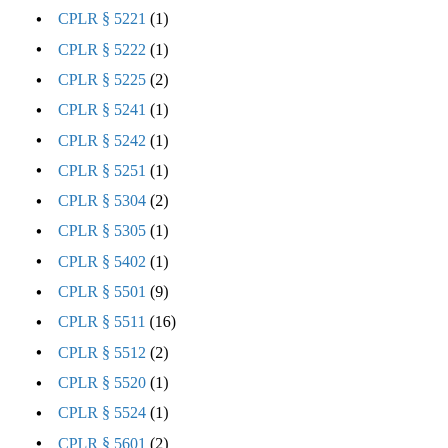CPLR § 5221 (1)
CPLR § 5222 (1)
CPLR § 5225 (2)
CPLR § 5241 (1)
CPLR § 5242 (1)
CPLR § 5251 (1)
CPLR § 5304 (2)
CPLR § 5305 (1)
CPLR § 5402 (1)
CPLR § 5501 (9)
CPLR § 5511 (16)
CPLR § 5512 (2)
CPLR § 5520 (1)
CPLR § 5524 (1)
CPLR § 5601 (2)
CPLR § 5701 (12)